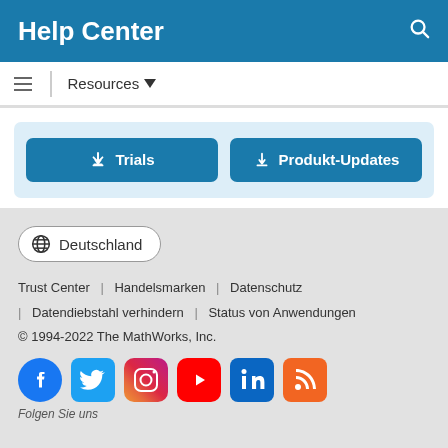Help Center
Resources ▾
[Figure (screenshot): Two download buttons: 'Trials' and 'Produkt-Updates' on light blue background]
[Figure (screenshot): Country selector button showing globe icon and 'Deutschland']
Trust Center | Handelsmarken | Datenschutz | Datendiebstahl verhindern | Status von Anwendungen
© 1994-2022 The MathWorks, Inc.
[Figure (infographic): Social media icons: Facebook, Twitter, Instagram, YouTube, LinkedIn, RSS]
Folgen Sie uns